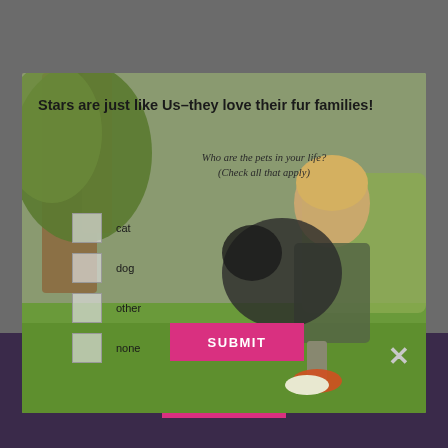Stars are just like Us–they love their fur families!
Who are the pets in your life? (Check all that apply)
cat
dog
other
none
SUBMIT
IT'S FOR ME
SHOP NOW
[Figure (photo): Woman smiling outdoors holding a large dark dog, sitting on grass with trees in background - modal popup overlay]